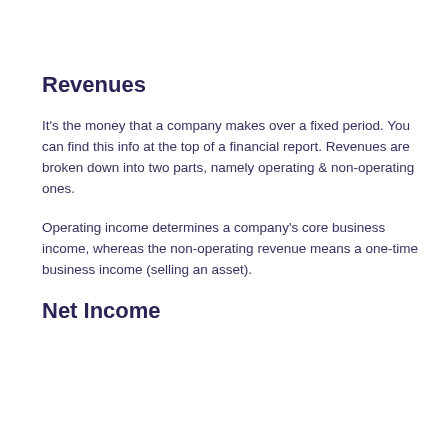Revenues
It's the money that a company makes over a fixed period. You can find this info at the top of a financial report. Revenues are broken down into two parts, namely operating & non-operating ones.
Operating income determines a company's core business income, whereas the non-operating revenue means a one-time business income (selling an asset).
Net Income